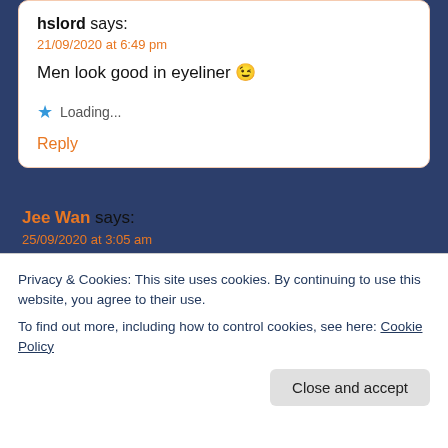hslord says:
21/09/2020 at 6:49 pm

Men look good in eyeliner 😉

★ Loading...

Reply
Jee Wan says:
25/09/2020 at 3:05 am

Why did they use the song by the Eurythmics but hardly ever include them in the book? 🤷 great review, NS! And this is one
Privacy & Cookies: This site uses cookies. By continuing to use this website, you agree to their use.
To find out more, including how to control cookies, see here: Cookie Policy

Close and accept